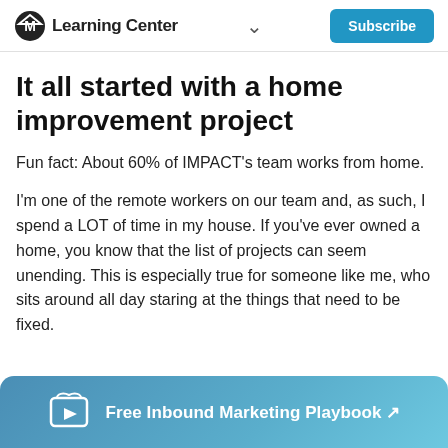Learning Center | Subscribe
It all started with a home improvement project
Fun fact: About 60% of IMPACT's team works from home.
I'm one of the remote workers on our team and, as such, I spend a LOT of time in my house. If you've ever owned a home, you know that the list of projects can seem unending. This is especially true for someone like me, who sits around all day staring at the things that need to be fixed.
Free Inbound Marketing Playbook ↗